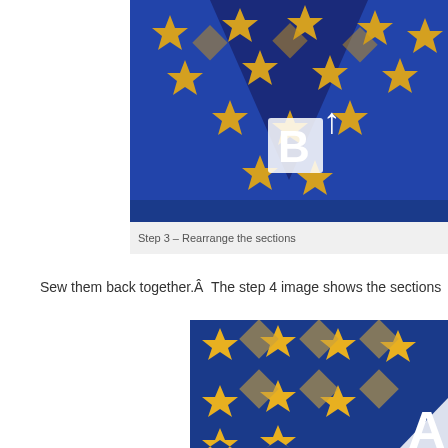[Figure (photo): Quilt pattern with blue and gold star blocks arranged in a diamond/triangle configuration, with a white letter B and upward arrow overlaid on the fabric]
Step 3 – Rearrange the sections
Sew them back together.Â  The step 4 image shows the sections
[Figure (photo): Quilt pattern with blue and gold star blocks in a grid arrangement, with a partial white letter A visible in the lower right corner]